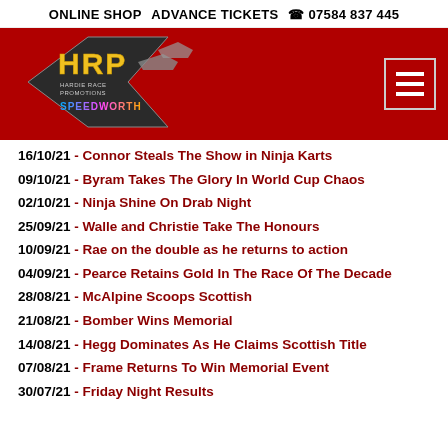ONLINE SHOP   ADVANCE TICKETS   ☎ 07584 837 445
[Figure (logo): HRP (Hardie Race Promotions) logo with Speedworth branding on red banner background, with hamburger menu button on right]
16/10/21 - Connor Steals The Show in Ninja Karts
09/10/21 - Byram Takes The Glory In World Cup Chaos
02/10/21 - Ninja Shine On Drab Night
25/09/21 - Walle and Christie Take The Honours
10/09/21 - Rae on the double as he returns to action
04/09/21 - Pearce Retains Gold In The Race Of The Decade
28/08/21 - McAlpine Scoops Scottish
21/08/21 - Bomber Wins Memorial
14/08/21 - Hegg Dominates As He Claims Scottish Title
07/08/21 - Frame Returns To Win Memorial Event
30/07/21 - Friday Night Results